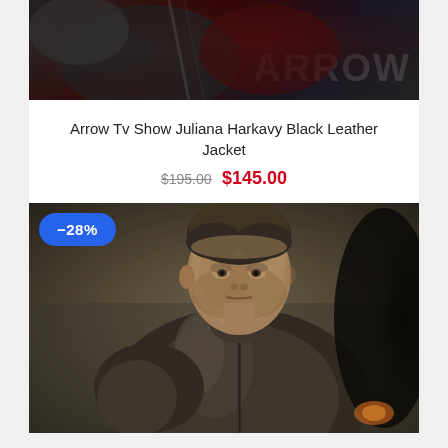[Figure (photo): Top portion of a dark leather jacket photo from the Arrow TV show, with 'ARROW' text watermark visible in the bottom right]
Arrow Tv Show Juliana Harkavy Black Leather Jacket
$195.00  $145.00
[Figure (photo): Photo of a man (Stephen Amell as Oliver Queen) wearing a brown leather jacket from the Arrow TV show, looking to the side with a serious expression. A dark silhouette is visible on the right side. A blue discount badge showing -28% is overlaid on the top left.]